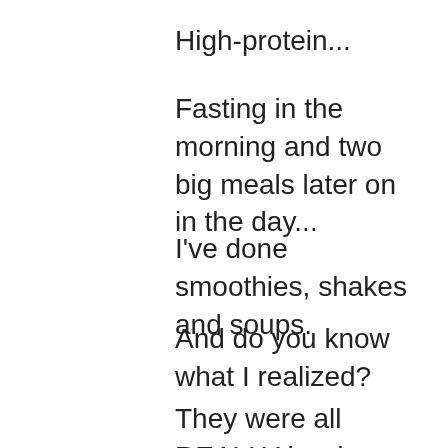High-protein...
Fasting in the morning and two big meals later on in the day...
I've done smoothies, shakes and soups.
And do you know what I realized?
They were all REALLY hard.